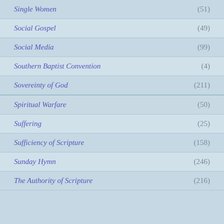Single Women (51)
Social Gospel (49)
Social Media (99)
Southern Baptist Convention (4)
Sovereinty of God (211)
Spiritual Warfare (50)
Suffering (25)
Sufficiency of Scripture (158)
Sunday Hymn (246)
The Authority of Scripture (216)